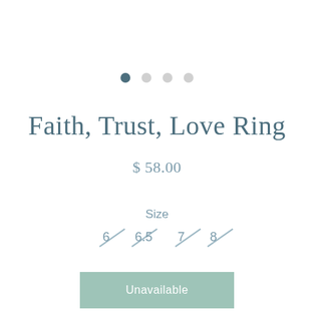[Figure (other): Carousel pagination dots: one dark filled circle (active) followed by three lighter circles (inactive)]
Faith, Trust, Love Ring
$ 58.00
Size
6   6.5   7   8
Unavailable